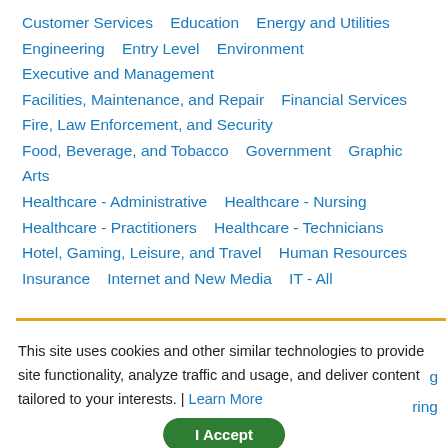Customer Services    Education    Energy and Utilities
Engineering    Entry Level    Environment
Executive and Management
Facilities, Maintenance, and Repair    Financial Services
Fire, Law Enforcement, and Security
Food, Beverage, and Tobacco    Government    Graphic Arts
Healthcare - Administrative    Healthcare - Nursing
Healthcare - Practitioners    Healthcare - Technicians
Hotel, Gaming, Leisure, and Travel    Human Resources
Insurance    Internet and New Media    IT - All
This site uses cookies and other similar technologies to provide site functionality, analyze traffic and usage, and deliver content tailored to your interests. | Learn More
I Accept